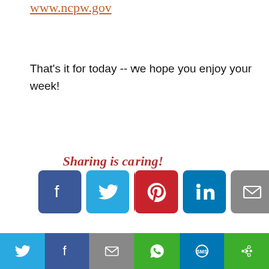www.ncpw.gov
That's it for today -- we hope you enjoy your week!
[Figure (infographic): Sharing is caring! social media share buttons: Facebook, Twitter, Pinterest, LinkedIn, Email, More]
Other Scam Prevention Info
[Figure (infographic): Bottom social share bar with Twitter, Facebook, Email, WhatsApp, SMS, More buttons]